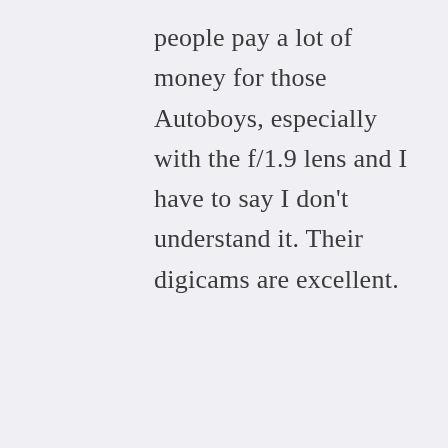people pay a lot of money for those Autoboys, especially with the f/1.9 lens and I have to say I don't understand it. Their digicams are excellent.